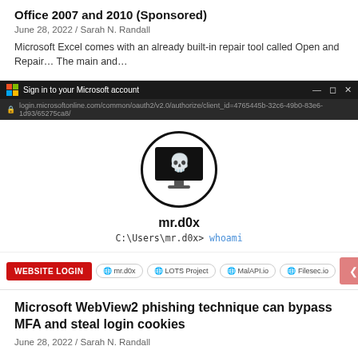Office 2007 and 2010 (Sponsored)
June 28, 2022 / Sarah N. Randall
Microsoft Excel comes with an already built-in repair tool called Open and Repair… The main and…
[Figure (screenshot): Screenshot of a Microsoft account sign-in browser window with a hacker profile avatar (skull on monitor screen) for user mr.d0x, with command prompt text C:\Users\mr.d0x> whoami]
Microsoft WebView2 phishing technique can bypass MFA and steal login cookies
June 28, 2022 / Sarah N. Randall